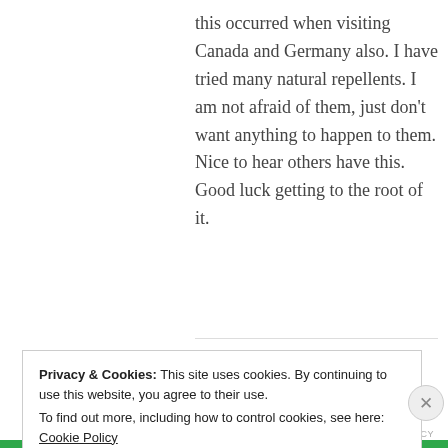this occurred when visiting Canada and Germany also. I have tried many natural repellents. I am not afraid of them, just don't want anything to happen to them. Nice to hear others have this. Good luck getting to the root of it.
REPLY
Privacy & Cookies: This site uses cookies. By continuing to use this website, you agree to their use.
To find out more, including how to control cookies, see here: Cookie Policy
Close and accept